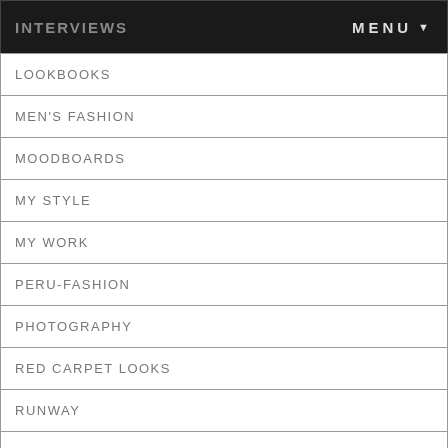INTERVIEWS   MENU ▼
LOOKBOOKS
MEN'S FASHION
MOODBOARDS
MY STYLE
MY WORK
PERU-FASHION
PHOTOGRAPHY
RED CARPET LOOKS
RUNWAY
SPONSORS
STORES